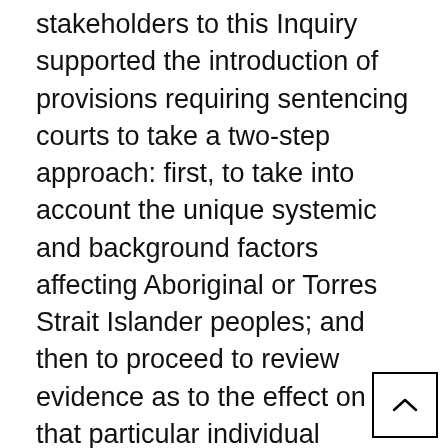stakeholders to this Inquiry supported the introduction of provisions requiring sentencing courts to take a two-step approach: first, to take into account the unique systemic and background factors affecting Aboriginal or Torres Strait Islander peoples; and then to proceed to review evidence as to the effect on that particular individual offender.
The ALRC recommends the introduction of such provisions. The ALRC further recommends that in